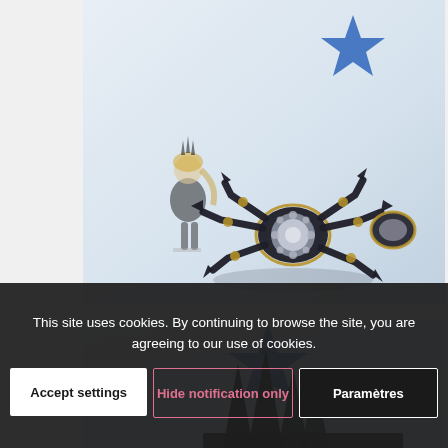[Figure (photo): Photo of a dark spider-like mechanical toy/figure with gold accents and spiked legs, alongside a small anime-style figurine with blonde hair and black armor, set against a light blue-grey background with a blue star shape.]
[Figure (photo): Partial photo showing dark spikes against a blue star background, partially obscured by cookie consent banner.]
This site uses cookies. By continuing to browse the site, you are agreeing to our use of cookies.
Accept settings
Hide notification only
Paramètres